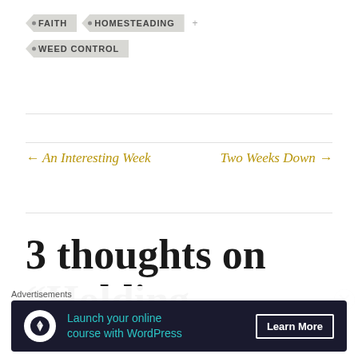FAITH
HOMESTEADING
WEED CONTROL
← An Interesting Week    Two Weeks Down →
3 thoughts on “Holding
Advertisements
Launch your online course with WordPress  Learn More